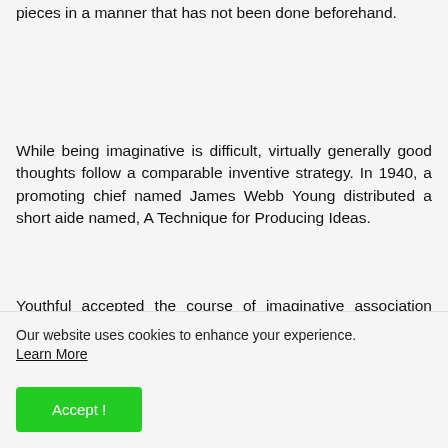pieces in a manner that has not been done beforehand.
While being imaginative is difficult, virtually generally good thoughts follow a comparable inventive strategy. In 1940, a promoting chief named James Webb Young distributed a short aide named, A Technique for Producing Ideas.
Youthful accepted the course of imaginative association generally happened in five stages.
Our website uses cookies to enhance your experience. Learn More
Accept !